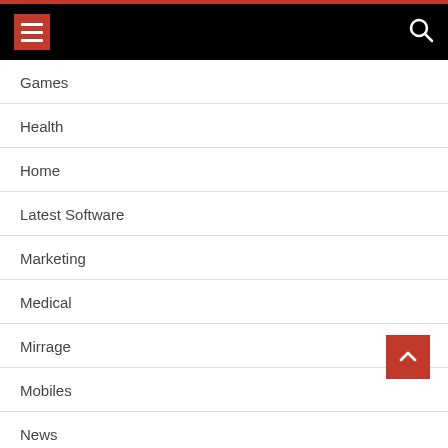Navigation menu header with hamburger button and search icon
Games
Health
Home
Latest Software
Marketing
Medical
Mirrage
Mobiles
News